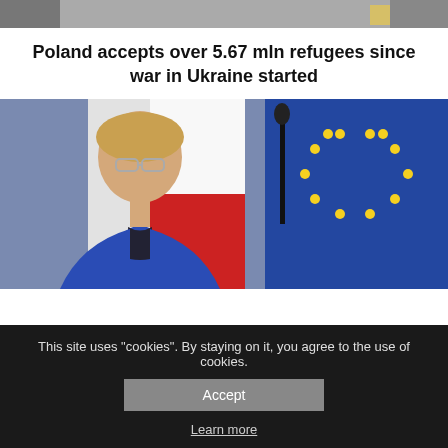[Figure (photo): Top partial photo of people, partially cropped at top of page]
Poland accepts over 5.67 mln refugees since war in Ukraine started
[Figure (photo): Photo of a woman in a blue blazer with glasses standing in front of Polish and EU flags, with a microphone visible]
This site uses "cookies". By staying on it, you agree to the use of cookies.
Accept
Learn more